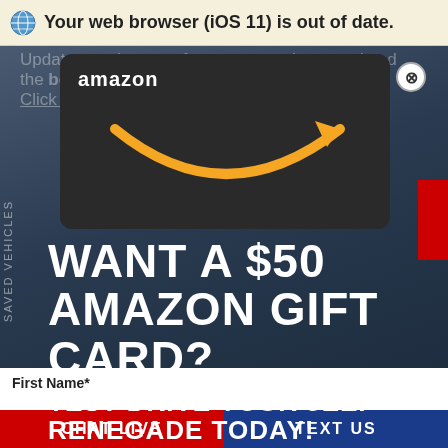Your web browser (iOS 11) is out of date.
Update your browser for more security, speed and the best experience on this site. Click here.
[Figure (logo): Amazon gift card with dark background and Amazon logo with smile arrow graphic]
WANT A $50 AMAZON GIFT CARD?
TEST DRIVE YOUR JEEP RENEGADE TODAY!
First Name*
CHAT LIVE  TEXT US